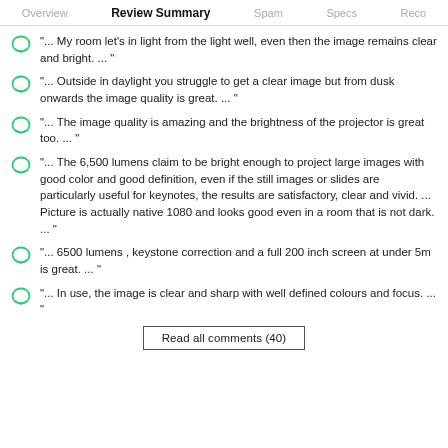Overview | Review Summary | Spam | Specs | Reco
"...  My room let's in light from the light well, even then the image remains clear and bright.  ...  "
"...  Outside in daylight you struggle to get a clear image but from dusk onwards the image quality is great.  ...  "
"...  The image quality is amazing and the brightness of the projector is great too.  ...  "
"...  The 6,500 lumens claim to be bright enough to project large images with good color and good definition, even if the still images or slides are particularly useful for keynotes, the results are satisfactory, clear and vivid. ... Picture is actually native 1080 and looks good even in a room that is not dark.  ...  "
"...  6500 lumens , keystone correction and a full 200 inch screen at under 5m is great.  ...  "
"...  In use, the image is clear and sharp with well defined colours and focus.  ...  "
Read all comments (40)